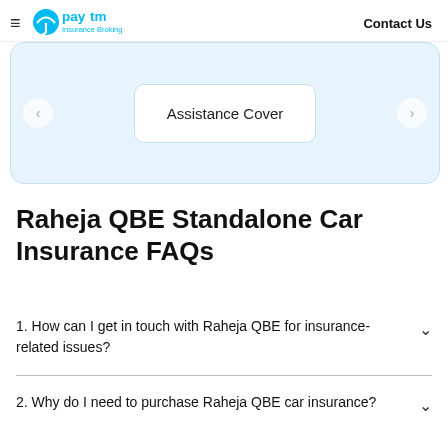Paytm Insurance Broking | Contact Us
[Figure (other): Paytm Insurance Broking website card carousel showing 'Assistance Cover' option]
Raheja QBE Standalone Car Insurance FAQs
1. How can I get in touch with Raheja QBE for insurance-related issues?
2. Why do I need to purchase Raheja QBE car insurance?